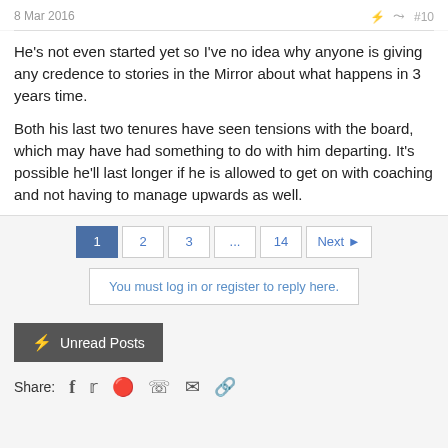8 Mar 2016  #10
He's not even started yet so I've no idea why anyone is giving any credence to stories in the Mirror about what happens in 3 years time.
Both his last two tenures have seen tensions with the board, which may have had something to do with him departing. It's possible he'll last longer if he is allowed to get on with coaching and not having to manage upwards as well.
1 2 3 ... 14 Next ▶
You must log in or register to reply here.
Unread Posts
Share: